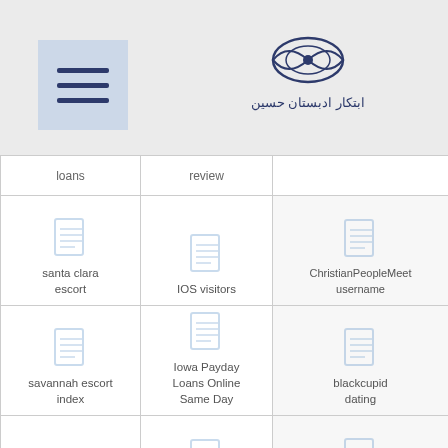[Figure (logo): Menu icon (hamburger) on left, Persian/Arabic decorative logo on right]
| loans | review |  |
| --- | --- | --- |
| santa clara escort | IOS visitors | ChristianPeopleMeet username |
| savannah escort index | Iowa Payday Loans Online Same Day | blackcupid dating |
| scruff review | ansinglesconnection review | Blackcupid pagina de citas |
| search | ismaili-dating | Blackcupid qu'est ce que |